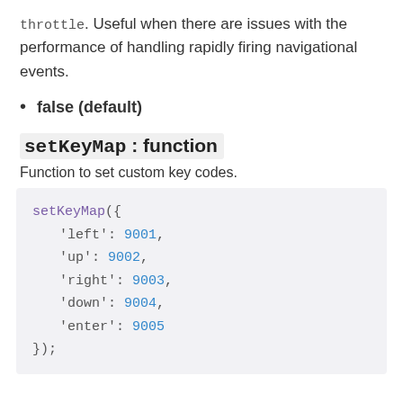throttle. Useful when there are issues with the performance of handling rapidly firing navigational events.
false (default)
setKeyMap : function
Function to set custom key codes.
setKeyMap({
    'left': 9001,
    'up': 9002,
    'right': 9003,
    'down': 9004,
    'enter': 9005
});